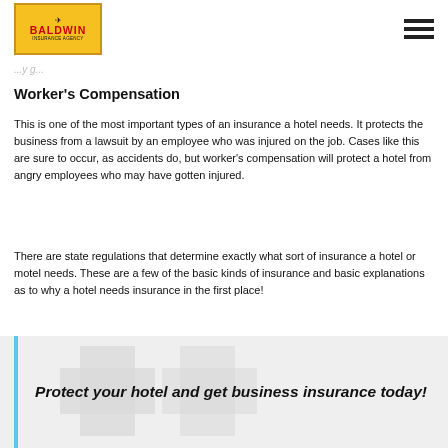Baldwin Insurance Agency logo and navigation
Worker's Compensation
This is one of the most important types of an insurance a hotel needs. It protects the business from a lawsuit by an employee who was injured on the job. Cases like this are sure to occur, as accidents do, but worker's compensation will protect a hotel from angry employees who may have gotten injured.
There are state regulations that determine exactly what sort of insurance a hotel or motel needs. These are a few of the basic kinds of insurance and basic explanations as to why a hotel needs insurance in the first place!
Protect your hotel and get business insurance today!